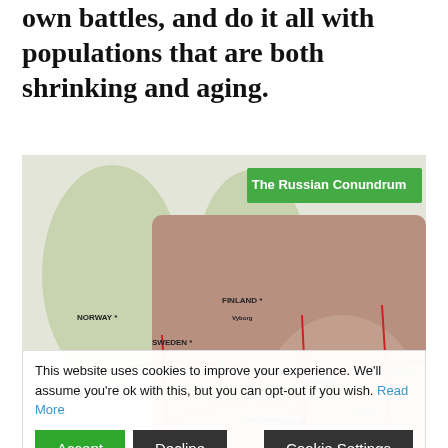own battles, and do it all with populations that are both shrinking and aging.
[Figure (map): Map titled 'The Russian Conundrum' showing Europe and western Russia with pipeline routes (red lines), dotted border lines, and country labels including Norway, Sweden, Finland, Estonia, Latvia, Lithuania, Germany, Poland, Hungary, Belarus, Ukraine, Russia, Kazakhstan.]
This website uses cookies to improve your experience. We'll assume you're ok with this, but you can opt-out if you wish. Read More
Accept
Decline
Cookie Settings